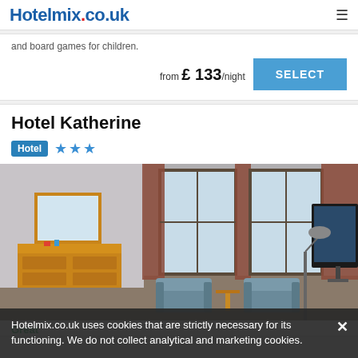Hotelmix.co.uk
and board games for children.
from £ 133/night
SELECT
Hotel Katherine
Hotel ★★★
[Figure (photo): Hotel room interior with wooden dresser, two grey armchairs, small round table, large windows with plaid curtains, and wall-mounted flat screen TV.]
Hotelmix.co.uk uses cookies that are strictly necessary for its functioning. We do not collect analytical and marketing cookies.
Great